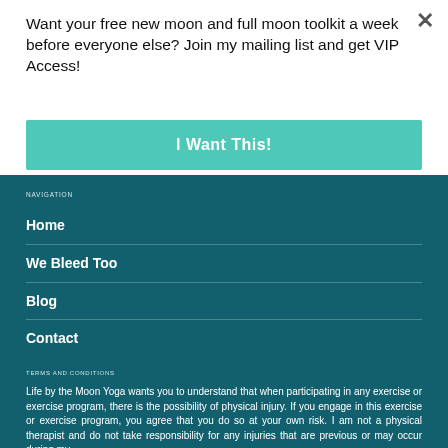Want your free new moon and full moon toolkit a week before everyone else? Join my mailing list and get VIP Access!
I Want This!
NAVIGATION
Home
We Bleed Too
Blog
Contact
TERMS AND CONDITIONS
Life by the Moon Yoga wants you to understand that when participating in any exercise or exercise program, there is the possibility of physical injury. If you engage in this exercise or exercise program, you agree that you do so at your own risk. I am not a physical therapist and do not take responsibility for any injuries that are previous or may occur during my